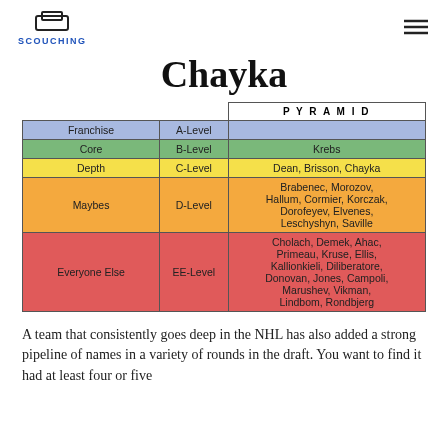SCOUCHING
Chayka
|  |  | PYRAMID |
| --- | --- | --- |
| Franchise | A-Level |  |
| Core | B-Level | Krebs |
| Depth | C-Level | Dean, Brisson, Chayka |
| Maybes | D-Level | Brabenec, Morozov, Hallum, Cormier, Korczak, Dorofeyev, Elvenes, Leschyshyn, Saville |
| Everyone Else | EE-Level | Cholach, Demek, Ahac, Primeau, Kruse, Ellis, Kallionkieli, Diliberatore, Donovan, Jones, Campoli, Marushev, Vikman, Lindbom, Rondbjerg |
A team that consistently goes deep in the NHL has also added a strong pipeline of names in a variety of rounds in the draft. You want to find it had at least four or five